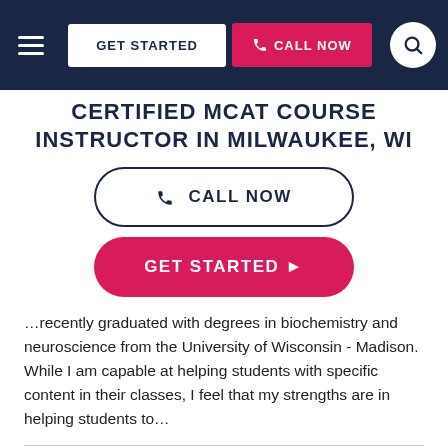GET STARTED  CALL NOW
CERTIFIED MCAT COURSE INSTRUCTOR IN MILWAUKEE, WI
☎ CALL NOW
GET STARTED ▶
…recently graduated with degrees in biochemistry and neuroscience from the University of Wisconsin - Madison. While I am capable at helping students with specific content in their classes, I feel that my strengths are in helping students to…
EDUCATION & CERTIFICATION